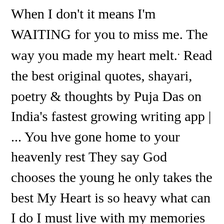When I don't it means I'm WAITING for you to miss me. The way you made my heart melt. Read the best original quotes, shayari, poetry & thoughts by Puja Das on India's fastest growing writing app | ... You hve gone home to your heavenly rest They say God chooses the young he only takes the best My Heart is so heavy what can I do I must live with my memories of the day I met you. Jul 27, 2018 - love quote: the day I met you, my life changed, the way you make me feel is hard to explain, find more Love Quotes on LoveIMGs. 1. 2. “Most days I wish I’d never met you ‘cause then I could sleep at night. But now that I’ve met you I understand. I’d do anything for you. 15. Really God sent to me. I always thought